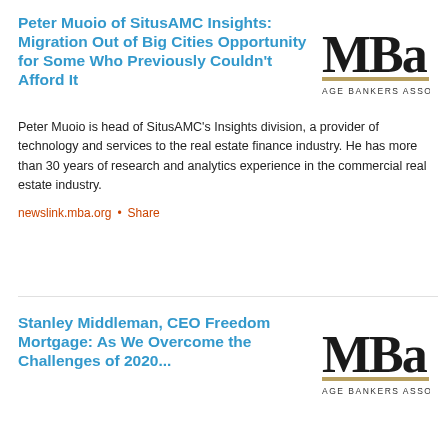Peter Muoio of SitusAMC Insights: Migration Out of Big Cities Opportunity for Some Who Previously Couldn't Afford It
[Figure (logo): MBA Mortgage Bankers Association logo, partial view showing 'MBa' lettering and 'AGE BANKERS ASSOCI' text]
Peter Muoio is head of SitusAMC's Insights division, a provider of technology and services to the real estate finance industry. He has more than 30 years of research and analytics experience in the commercial real estate industry.
newslink.mba.org • Share
Stanley Middleman, CEO Freedom Mortgage: As We Overcome the Challenges of 2020...
[Figure (logo): MBA Mortgage Bankers Association logo, partial view showing 'MBa' lettering and 'AGE BANKERS ASSOCI' text]